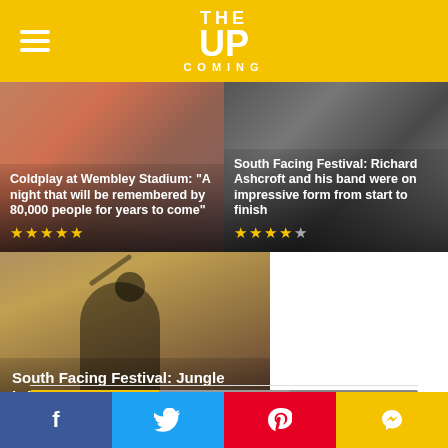THE UPCOMING
[Figure (photo): Concert photo with overlay text: Coldplay at Wembley Stadium: 'A night that will be remembered by 80,000 people for years to come' with 5 star rating]
[Figure (photo): Concert photo with overlay text: South Facing Festival: Richard Ashcroft and his band were on impressive form from start to finish with 4 star rating]
[Figure (photo): Concert photo of performer with arm raised, with overlay text: South Facing Festival: Jungle bring their signature neo-funk to Saturday night with 4.5 star rating]
POPULAR | LATEST | TOP PICKS
Edinburgh Fringe 2023: Simon Brodkin...